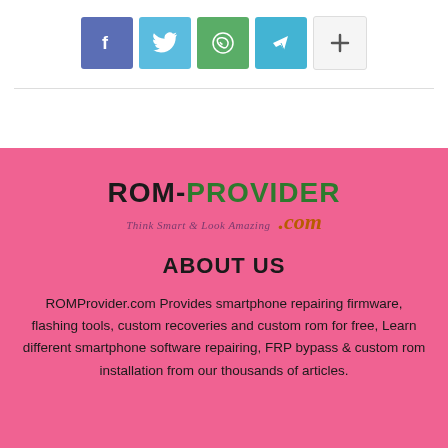[Figure (infographic): Social media share icons: Facebook (blue-purple), Twitter (light blue), WhatsApp (green), Telegram (cyan), and a plus button (light grey)]
[Figure (logo): ROM-PROVIDER.COM logo with tagline 'Think Smart & Look Amazing']
ABOUT US
ROMProvider.com Provides smartphone repairing firmware, flashing tools, custom recoveries and custom rom for free, Learn different smartphone software repairing, FRP bypass & custom rom installation from our thousands of articles.